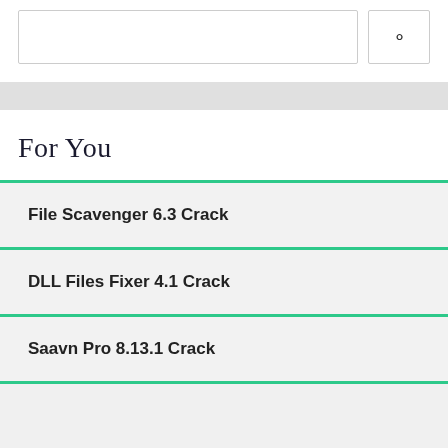[Figure (screenshot): Search bar input field and search button with magnifying glass icon]
For You
File Scavenger 6.3 Crack
DLL Files Fixer 4.1 Crack
Saavn Pro 8.13.1 Crack